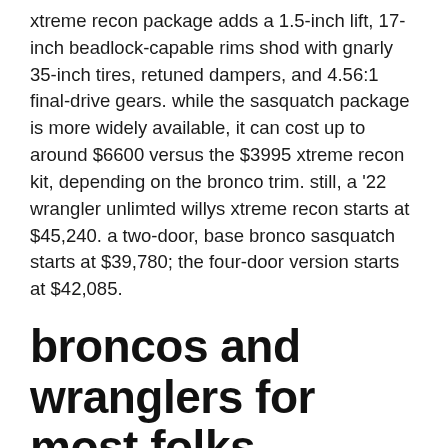xtreme recon package adds a 1.5-inch lift, 17-inch beadlock-capable rims shod with gnarly 35-inch tires, retuned dampers, and 4.56:1 final-drive gears. while the sasquatch package is more widely available, it can cost up to around $6600 versus the $3995 xtreme recon kit, depending on the bronco trim. still, a '22 wrangler unlimted willys xtreme recon starts at $45,240. a two-door, base bronco sasquatch starts at $39,780; the four-door version starts at $42,085.
broncos and wranglers for most folks
between the ford bronco and jeep wrangler's base models and best models is a diverse selection of trim levels that will suit a variety of personalities. plus, both benefit from huge aftermarket support as well as countless factory-backed accessories that allow virtually unlimited